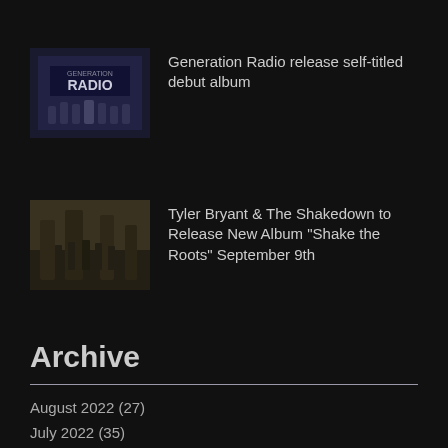[Figure (photo): Album cover or band photo for Generation Radio with text RADIO visible]
Generation Radio release self-titled debut album
[Figure (photo): Band photo of Tyler Bryant & The Shakedown outdoors]
Tyler Bryant & The Shakedown to Release New Album "Shake the Roots" September 9th
Archive
August 2022 (27)
July 2022 (35)
June 2022 (49)
May 2022 (9)